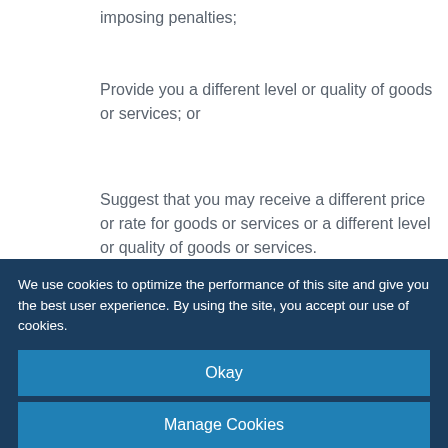imposing penalties;
Provide you a different level or quality of goods or services; or
Suggest that you may receive a different price or rate for goods or services or a different level or quality of goods or services.
We may offer you financial incentives to provide us with personal information that is reasonably related to the information’s value. This could result in different prices, rates, or quality levels for our products or services. Any financial incentive we offer will be described in written terms that explain the material aspects of the financial
We use cookies to optimize the performance of this site and give you the best user experience. By using the site, you accept our use of cookies.
Okay
Manage Cookies